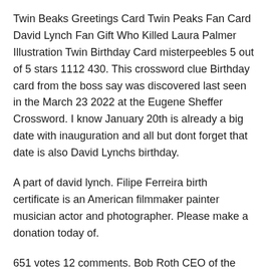Twin Beaks Greetings Card Twin Peaks Fan Card David Lynch Fan Gift Who Killed Laura Palmer Illustration Twin Birthday Card misterpeebles 5 out of 5 stars 1112 430. This crossword clue Birthday card from the boss say was discovered last seen in the March 23 2022 at the Eugene Sheffer Crossword. I know January 20th is already a big date with inauguration and all but dont forget that date is also David Lynchs birthday.
A part of david lynch. Filipe Ferreira birth certificate is an American filmmaker painter musician actor and photographer. Please make a donation today of.
651 votes 12 comments. Bob Roth CEO of the David Lynch Foundation has a birthday wish. Ad by CollectiveEmporiumAd from shop CollectiveEmporiumCollectiveEmporiumFrom shop